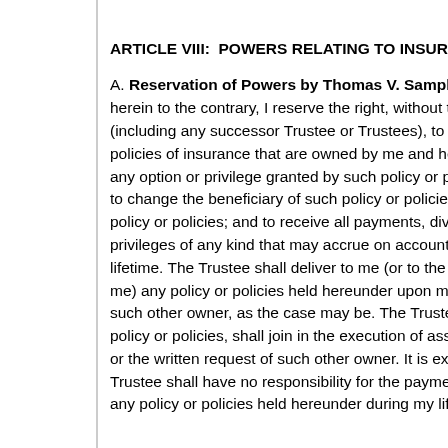ARTICLE VIII:  POWERS RELATING TO INSURANCE POLI...
A. Reservation of Powers by Thomas V. Sample... herein to the contrary, I reserve the right, without th... (including any successor Trustee or Trustees), to s... policies of insurance that are owned by me and he... any option or privilege granted by such policy or po... to change the beneficiary of such policy or policies... policy or policies; and to receive all payments, divid... privileges of any kind that may accrue on account o... lifetime. The Trustee shall deliver to me (or to the o... me) any policy or policies held hereunder upon my... such other owner, as the case may be. The Trustee... policy or policies, shall join in the execution of assi... or the written request of such other owner. It is exp... Trustee shall have no responsibility for the paymen... any policy or policies held hereunder during my life...